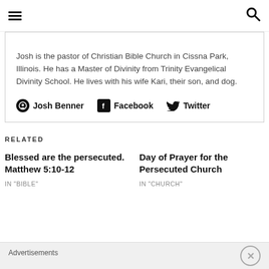navigation header with hamburger menu and search icon
Josh is the pastor of Christian Bible Church in Cissna Park, Illinois. He has a Master of Divinity from Trinity Evangelical Divinity School. He lives with his wife Kari, their son, and dog.
Josh Benner  Facebook  Twitter
RELATED
Blessed are the persecuted. Matthew 5:10-12
IN "BIBLE"
Day of Prayer for the Persecuted Church
IN "CHURCH"
Advertisements